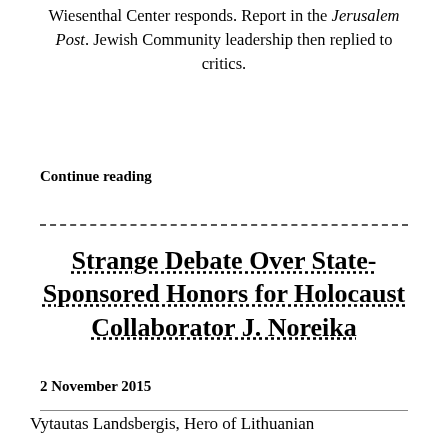Wiesenthal Center responds. Report in the Jerusalem Post. Jewish Community leadership then replied to critics.
Continue reading
Strange Debate Over State-Sponsored Honors for Holocaust Collaborator J. Noreika
2 November 2015
Vytautas Landsbergis, Hero of Lithuanian Independence, Shocks Many with...